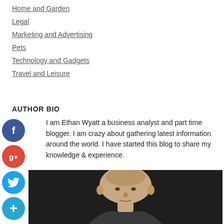Home and Garden
Legal
Marketing and Advertising
Pets
Technology and Gadgets
Travel and Leisure
AUTHOR BIO
I am Ethan Wyatt a business analyst and part time blogger. I am crazy about gathering latest information around the world. I have started this blog to share my knowledge & experience.
[Figure (photo): Portrait photo of a middle-aged bald man against a dark background]